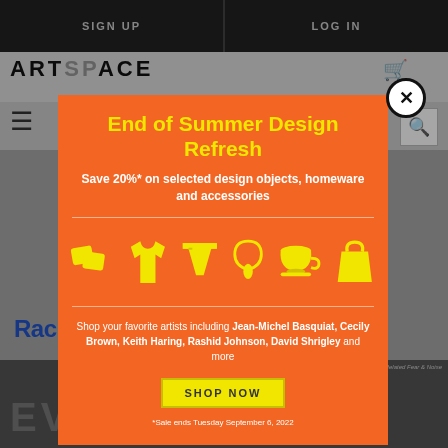SIGN UP   LOG IN
ARTSPACE
[Figure (infographic): Promotional modal popup for Artspace End of Summer Design Refresh sale. Orange background with yellow illustrated icons of pillows, t-shirt, shorts, necklace, teacup, and tote bag. Features title, discount text, artist names, and Shop Now CTA button.]
End of Summer Design Refresh
Save 20%* on selected design objects, homeware and accessories
Shop your favorite artists including Jean-Michel Basquiat, Cecily Brown, Keith Haring, Rashid Johnson, David Shrigley and more
SHOP NOW
*Sale ends Tuesday September 6, 2022
Ra...
EVERYONE